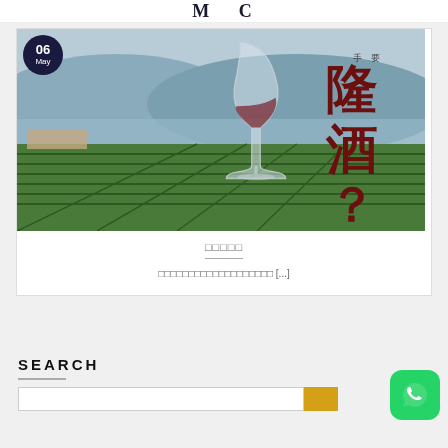M C
[Figure (photo): Wine glass with vineyard landscape in background, overlaid with large Chinese characters reading 隆酒? and smaller Chinese text. Date badge showing 06 May in top-left corner.]
□□□□□
□□□□□□□□□□□□□□□□□□□ [...]
SEARCH
[Figure (logo): WhatsApp icon - green rounded square with white phone handset]